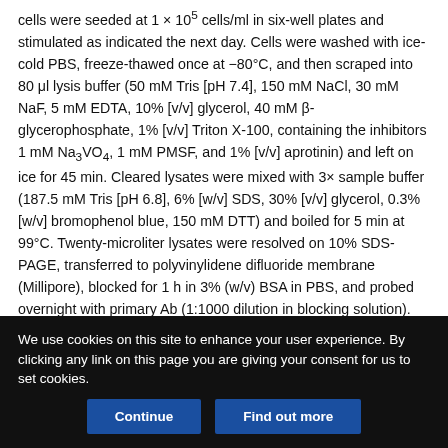cells were seeded at 1 × 10⁵ cells/ml in six-well plates and stimulated as indicated the next day. Cells were washed with ice-cold PBS, freeze-thawed once at −80°C, and then scraped into 80 μl lysis buffer (50 mM Tris [pH 7.4], 150 mM NaCl, 30 mM NaF, 5 mM EDTA, 10% [v/v] glycerol, 40 mM β-glycerophosphate, 1% [v/v] Triton X-100, containing the inhibitors 1 mM Na₃VO₄, 1 mM PMSF, and 1% [v/v] aprotinin) and left on ice for 45 min. Cleared lysates were mixed with 3× sample buffer (187.5 mM Tris [pH 6.8], 6% [w/v] SDS, 30% [v/v] glycerol, 0.3% [w/v] bromophenol blue, 150 mM DTT) and boiled for 5 min at 99°C. Twenty-microliter lysates were resolved on 10% SDS-PAGE, transferred to polyvinylidene difluoride membrane (Millipore), blocked for 1 h in 3% (w/v) BSA in PBS, and probed overnight with primary Ab (1:1000 dilution in blocking solution). The next day, membranes
We use cookies on this site to enhance your user experience. By clicking any link on this page you are giving your consent for us to set cookies.